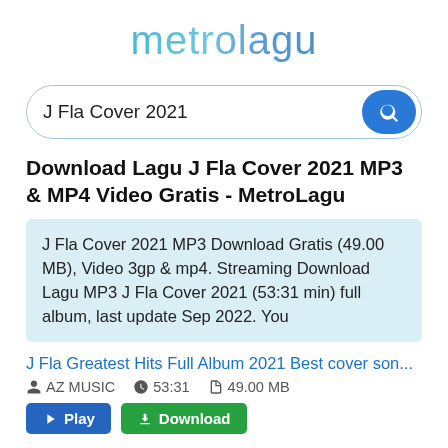[Figure (logo): metrolagu website logo in light blue gradient text]
J Fla Cover 2021
Download Lagu J Fla Cover 2021 MP3 & MP4 Video Gratis - MetroLagu
J Fla Cover 2021 MP3 Download Gratis (49.00 MB), Video 3gp & mp4. Streaming Download Lagu MP3 J Fla Cover 2021 (53:31 min) full album, last update Sep 2022. You
J Fla Greatest Hits Full Album 2021 Best cover son...
AZ MUSIC   53:31   49.00 MB
Play   Download